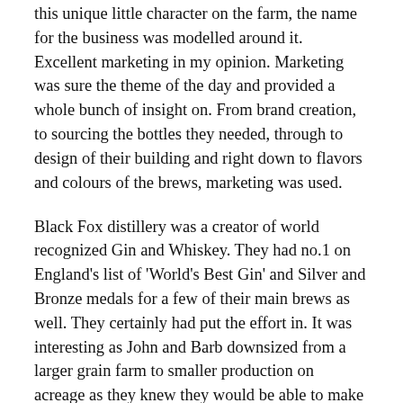this unique little character on the farm, the name for the business was modelled around it. Excellent marketing in my opinion. Marketing was sure the theme of the day and provided a whole bunch of insight on. From brand creation, to sourcing the bottles they needed, through to design of their building and right down to flavors and colours of the brews, marketing was used.
Black Fox distillery was a creator of world recognized Gin and Whiskey. They had no.1 on England's list of 'World's Best Gin' and Silver and Bronze medals for a few of their main brews as well. They certainly had put the effort in. It was interesting as John and Barb downsized from a larger grain farm to smaller production on acreage as they knew they would be able to make more on less land. That particular thought was a great concept.
Both John and Barb were both recipients of the